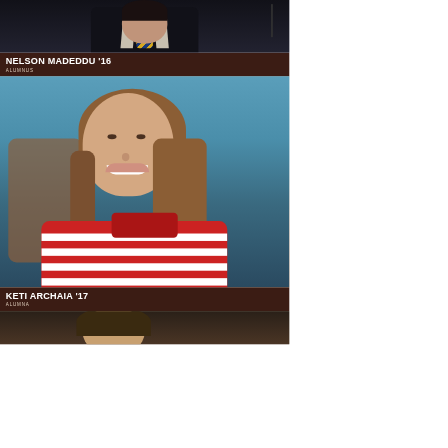[Figure (photo): Photo of Nelson Madeddu, a man in a dark suit with a yellow and navy striped tie, speaking at a microphone]
NELSON MADEDDU '16
ALUMNUS
[Figure (photo): Photo of Keti Archaia, a young woman with medium-length brown hair, smiling, wearing a red and white striped top]
KETI ARCHAIA '17
ALUMNA
[Figure (photo): Partial photo of a third person, cropped at bottom of page]